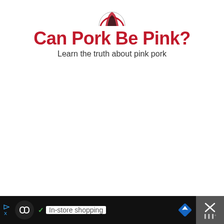[Figure (logo): Partial circular logo/icon at top, red and black colors]
Can Pork Be Pink?
Learn the truth about pink pork
[Figure (other): Advertisement bar at bottom: black background with circular icon, checkmark, 'In-store shopping' text, blue diamond navigation icon, and close button with X]